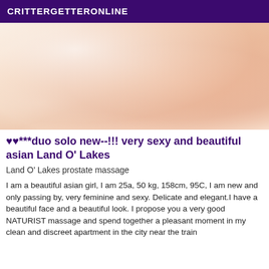CRITTERGETTERONLINE
[Figure (photo): Close-up photo of a woman in lingerie, blurred/soft focus]
♥♥***duo solo new--!!! very sexy and beautiful asian Land O' Lakes
Land O' Lakes prostate massage
I am a beautiful asian girl, I am 25a, 50 kg, 158cm, 95C, I am new and only passing by, very feminine and sexy. Delicate and elegant.I have a beautiful face and a beautiful look. I propose you a very good NATURIST massage and spend together a pleasant moment in my clean and discreet apartment in the city near the train